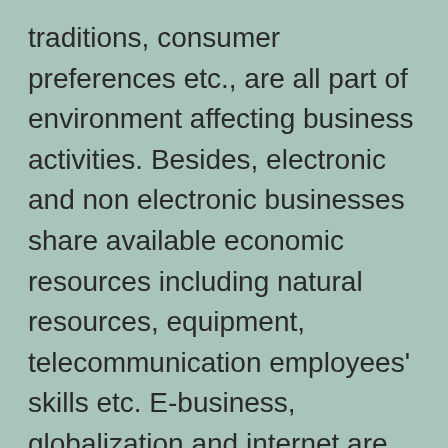traditions, consumer preferences etc., are all part of environment affecting business activities. Besides, electronic and non electronic businesses share available economic resources including natural resources, equipment, telecommunication employees' skills etc. E-business, globalization and internet are interdependent. The more global players exist, the more business they want to do which will attract more people to get direct internet access. There are many categories of e-business such as e-commerce, e-marketing, e-mailing, e-auction, and e-supply